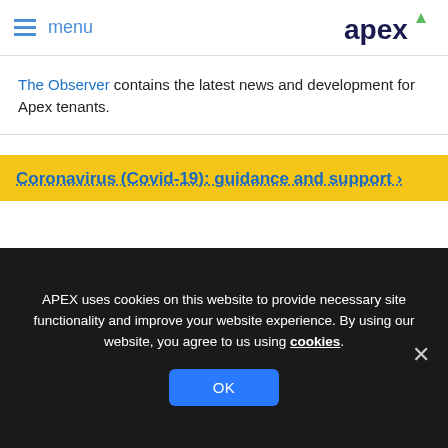menu | apex
The Observer contains the latest news and development for Apex tenants.
Coronavirus (Covid-19): guidance and support >
[Figure (photo): Apex Observer magazine cover showing 'Families praise new Apex homes in Dunmurry' headline on purple background with house icon]
APEX uses cookies on this website to provide necessary site functionality and improve your website experience. By using our website, you agree to us using cookies.